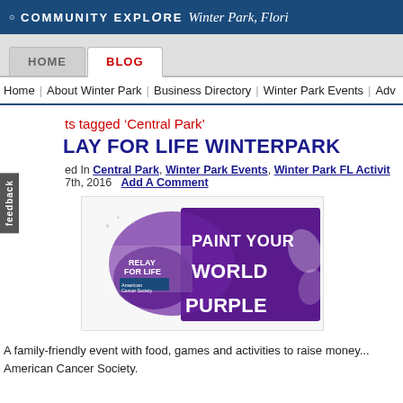COMMUNITY EXPLORE Winter Park, Flori...
HOME | BLOG
Home | About Winter Park | Business Directory | Winter Park Events | Adv...
ts tagged ‘Central Park’
LAY FOR LIFE WINTERPARK
ed In Central Park, Winter Park Events, Winter Park FL Activit... 7th, 2016  Add A Comment
[Figure (photo): Relay For Life Winter Park banner image reading 'PAINT YOUR WORLD PURPLE' with purple paint splash and Relay For Life / American Cancer Society logos]
A family-friendly event with food, games and activities to raise money... American Cancer Society.